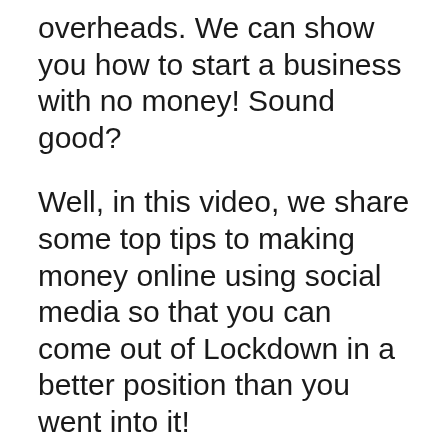overheads. We can show you how to start a business with no money! Sound good?
Well, in this video, we share some top tips to making money online using social media so that you can come out of Lockdown in a better position than you went into it!
Also, if you want more support, we have an online community of business leaders who go through online training on a weekly basis and collaborate together to support...